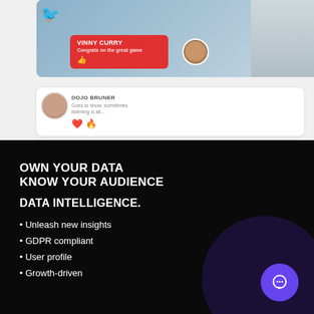[Figure (screenshot): UI mockup showing a video call interface with a red notification card showing 'VINNY CURRY - Congrats on the great game' with a thumbs up emoji, a small user avatar, and a side panel with another person. Below is a comment card with a user avatar showing reactions (heart and fire emojis).]
OWN YOUR DATA
KNOW YOUR AUDIENCE
DATA INTELLIGENCE.
Unleash new insights
GDPR compliant
User profile
Growth-driven